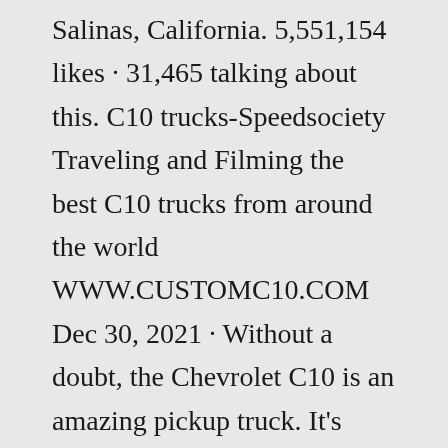Salinas, California. 5,551,154 likes · 31,465 talking about this. C10 trucks-Speedsociety Traveling and Filming the best C10 trucks from around the world WWW.CUSTOMC10.COM Dec 30, 2021 · Without a doubt, the Chevrolet C10 is an amazing pickup truck. It's rough, capable, and appealing, regardless of the year of production. Every model has its charm. Sure, the C10 has aged a lot, but that doesn't need to be a bad thing. As long as you pick